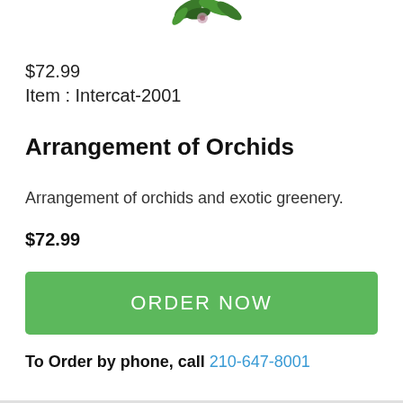[Figure (photo): Orchid arrangement with green leaves visible at top of page]
$72.99
Item : Intercat-2001
Arrangement of Orchids
Arrangement of orchids and exotic greenery.
$72.99
ORDER NOW
To Order by phone, call 210-647-8001